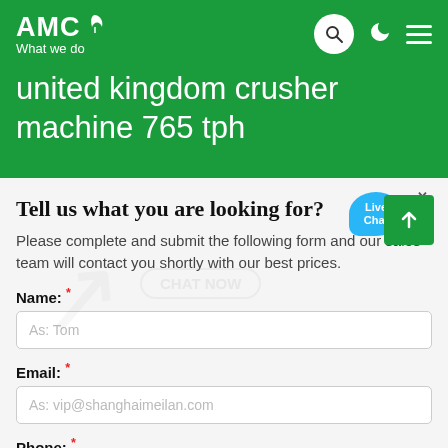AMC — What we do
united kingdom crusher machine 765 tph
Tell us what you are looking for?
Please complete and submit the following form and our sales team will contact you shortly with our best prices.
Name: *
As: Tom
Email: *
As: vip@shanghaimeilan.com
Phone: *
With Country Code